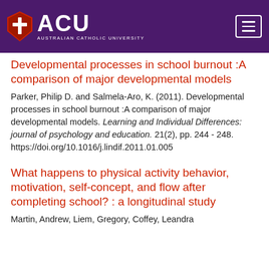ACU — Australian Catholic University
Developmental processes in school burnout :A comparison of major developmental models
Parker, Philip D. and Salmela-Aro, K. (2011). Developmental processes in school burnout :A comparison of major developmental models. Learning and Individual Differences: journal of psychology and education. 21(2), pp. 244 - 248. https://doi.org/10.1016/j.lindif.2011.01.005
What happens to physical activity behavior, motivation, self-concept, and flow after completing school? : a longitudinal study
Martin, Andrew, Liem, Gregory, Coffey, Leandra